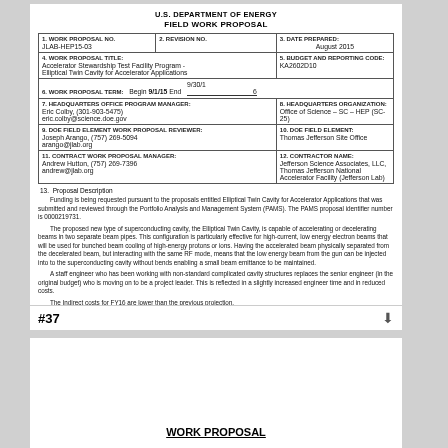U.S. DEPARTMENT OF ENERGY
FIELD WORK PROPOSAL
| 1. WORK PROPOSAL NO. | 2. REVISION NO. | 3. DATE PREPARED: |
| --- | --- | --- |
| JLAB-HEP15-03 |  | August 2015 |
| 4. WORK PROPOSAL TITLE: | 5. BUDGET AND REPORTING CODE: |  |
| Accelerator Stewardship Test Facility Program - Elliptical Twin Cavity for Accelerator Applications | KA2602D10 |  |
| 6. WORK PROPOSAL TERM:  Begin 9/1/15 End | 9/30/16 |  |
| 7. HEADQUARTERS OFFICE PROGRAM MANAGER:
Eric Colby, (301-903-5475)
eric.colby@science.doe.gov | 8. HEADQUARTERS ORGANIZATION:
Office of Science – SC – HEP (SC-25) |  |
| 9. DOE FIELD ELEMENT WORK PROPOSAL REVIEWER:
Joseph Arango, (757) 269-5094
arango@jlab.org | 10. DOE FIELD ELEMENT:
Thomas Jefferson Site Office |  |
| 11. CONTRACT WORK PROPOSAL MANAGER:
Andrew Hutton, (757) 269-7396
andrew@jlab.org | 12. CONTRACTOR NAME:
Jefferson Science Associates, LLC,
Thomas Jefferson National Accelerator Facility (Jefferson Lab) |  |
13. Proposal Description
Funding is being requested pursuant to the proposals entitled Elliptical Twin Cavity for Accelerator Applications that was submitted and reviewed through the Portfolio Analysis and Management System (PAMS). The PAMS proposal identifier number is 0000219731.
The proposed new type of superconducting cavity, the Elliptical Twin Cavity, is capable of accelerating or decelerating beams in two separate beam pipes. This configuration is particularly effective for high-current, low energy electron beams that will be used for bunched beam cooling of high-energy protons or ions. Having the accelerated beam physically separated from the decelerated beam, but interacting with the same RF mode, means that the low energy beam from the gun can be injected into to the superconducting cavity without bends enabling a small beam emittance to be maintained.
A staff engineer who has been working with non-standard complicated cavity structures replaces the senior engineer (in the original budget) who is moving on to be a project leader. This is reflected in a slightly increased engineer time and in reduced costs.
The Indirect costs for FY16 are lower than the previous projection.
#37
WORK PROPOSAL